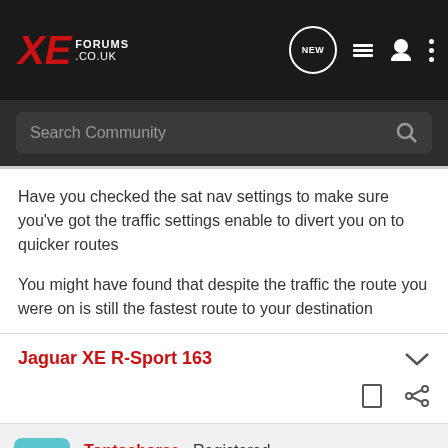XE FORUMS .CO.UK
Have you checked the sat nav settings to make sure you've got the traffic settings enable to divert you on to quicker routes

You might have found that despite the traffic the route you were on is still the fastest route to your destination
Jaguar XE R-Sport 163
Tontoshorse · Registered Joined Jul 13, 2015 · 50 Posts